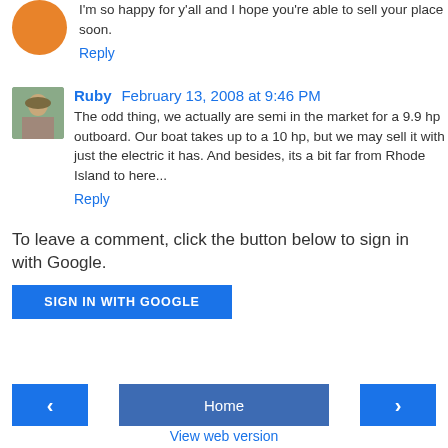I'm so happy for y'all and I hope you're able to sell your place soon.
Reply
Ruby  February 13, 2008 at 9:46 PM
The odd thing, we actually are semi in the market for a 9.9 hp outboard. Our boat takes up to a 10 hp, but we may sell it with just the electric it has. And besides, its a bit far from Rhode Island to here...
Reply
To leave a comment, click the button below to sign in with Google.
SIGN IN WITH GOOGLE
Home
View web version